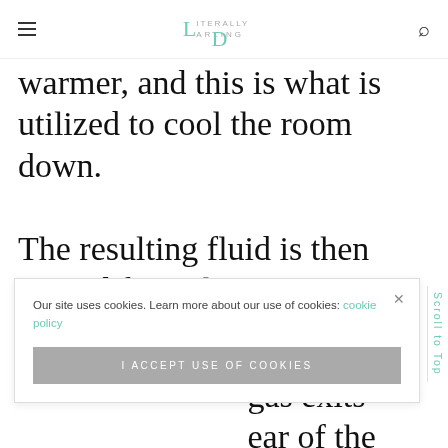Literally Darling — navigation header with hamburger menu and search icon
warmer, and this is what is utilized to cool the room down.
The resulting fluid is then moved from the ... This is when ... ant fluid ... gas exits ... ear of the
Our site uses cookies. Learn more about our use of cookies: cookie policy
I ACCEPT USE OF COOKIES